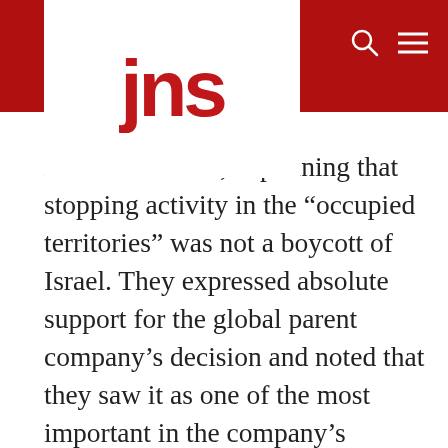jns
New York Times, explaining that stopping activity in the “occupied territories” was not a boycott of Israel. They expressed absolute support for the global parent company’s decision and noted that they saw it as one of the most important in the company’s history.
[Figure (photo): Photo showing three men smiling, with a cork board background decorated with paper decorations. A partial outdoor photo of a man on a horse and a woman in sunglasses is visible on the left side.]